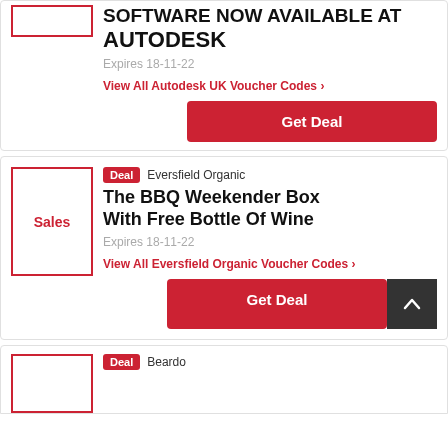SOFTWARE NOW AVAILABLE AT AUTODESK
Expires 18-11-22
View All Autodesk UK Voucher Codes
Get Deal
[Figure (other): Sales thumbnail box with red border for Eversfield Organic deal]
Deal  Eversfield Organic
The BBQ Weekender Box With Free Bottle Of Wine
Expires 18-11-22
View All Eversfield Organic Voucher Codes
Get Deal
[Figure (other): Sales thumbnail box with red border for Beardo deal]
Deal  Beardo